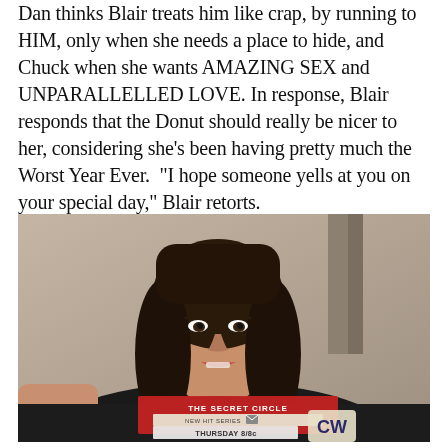Dan thinks Blair treats him like crap, by running to HIM, only when she needs a place to hide, and Chuck when she wants AMAZING SEX and UNPARALLELLED LOVE. In response, Blair responds that the Donut should really be nicer to her, considering she's been having pretty much the Worst Year Ever.  "I hope someone yells at you on your special day," Blair retorts.
[Figure (photo): A young woman with long dark wavy hair, speaking, captured from a TV screen. A network watermark in the bottom center shows 'THE SECRET CIRCLE NEW HIT SERIES THURSDAY 8/8c' with a CW logo on the right.]